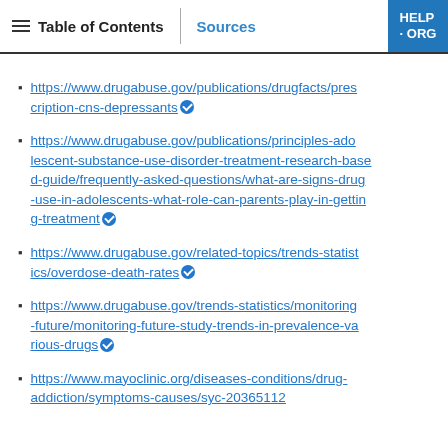Table of Contents | Sources | HELP-ORG
https://www.drugabuse.gov/publications/drugfacts/prescription-cns-depressants
https://www.drugabuse.gov/publications/principles-adolescent-substance-use-disorder-treatment-research-based-guide/frequently-asked-questions/what-are-signs-drug-use-in-adolescents-what-role-can-parents-play-in-getting-treatment
https://www.drugabuse.gov/related-topics/trends-statistics/overdose-death-rates
https://www.drugabuse.gov/trends-statistics/monitoring-future/monitoring-future-study-trends-in-prevalence-various-drugs
https://www.mayoclinic.org/diseases-conditions/drug-addiction/symptoms-causes/syc-20365112